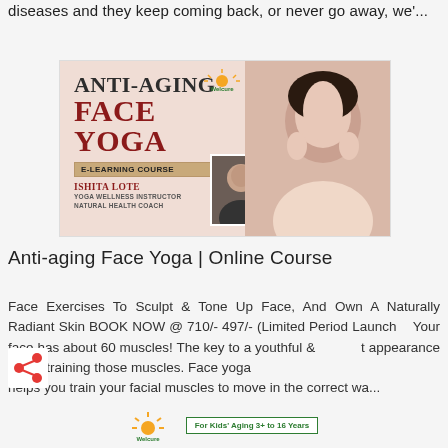diseases and they keep coming back, or never go away, we'...
[Figure (illustration): Anti-Aging Face Yoga E-Learning Course promotional banner featuring text 'ANTI-AGING FACE YOGA E-LEARNING COURSE' by Ishita Lote, Yoga Wellness Instructor, Natural Health Coach, with Welcure logo and photo of smiling woman and instructor]
Anti-aging Face Yoga | Online Course
Face Exercises To Sculpt & Tone Up Face, And Own A Naturally Radiant Skin BOOK NOW @ 710/- 497/- (Limited Period Launch   Your face has about 60 muscles! The key to a youthful & t appearance lies in training those muscles. Face yoga helps you train your facial muscles to move in the correct wa...
[Figure (logo): Welcure logo at bottom with sun/rays icon and 'For Kids' Aging 3+ to 16 Years' badge in green]